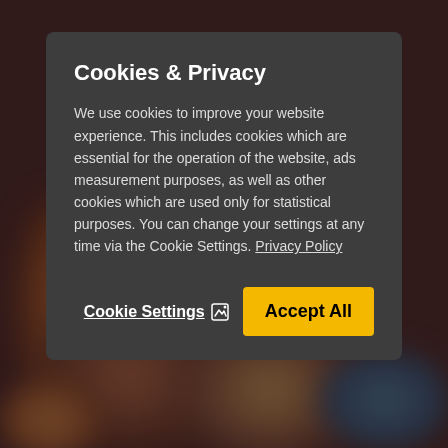[Figure (screenshot): Blurred background showing a person, partially obscured by a dark overlay and a cookie consent modal dialog.]
Cookies & Privacy
We use cookies to improve your website experience. This includes cookies which are essential for the operation of the website, ads measurement purposes, as well as other cookies which are used only for statistical purposes. You can change your settings at any time via the Cookie Settings. Privacy Policy
Cookie Settings  [icon]  Accept All